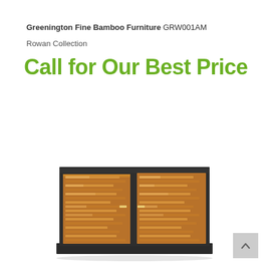Greenington Fine Bamboo Furniture GRW001AM
Rowan Collection
Call for Our Best Price
[Figure (photo): A Greenington fine bamboo furniture sideboard/credenza with a dark charcoal/espresso outer casing and bamboo slatted louvered doors in a warm amber/caramel finish, sitting on a low plinth base.]
[Figure (other): Scroll-to-top button with upward chevron arrow on a light gray background.]